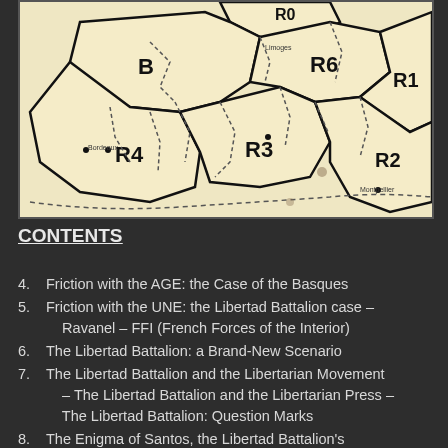[Figure (map): A historical map showing regions labeled B, R1, R2, R3, R4, R6 with solid and dotted boundary lines on a beige/cream background. The regions appear to be administrative or military zones, with thick black boundary lines separating the labeled zones.]
CONTENTS
4. Friction with the AGE: the Case of the Basques
5. Friction with the UNE: the Libertad Battalion case – Ravanel – FFI (French Forces of the Interior)
6. The Libertad Battalion: a Brand-New Scenario
7. The Libertad Battalion and the Libertarian Movement – The Libertad Battalion and the Libertarian Press – The Libertad Battalion: Question Marks
8. The Enigma of Santos, the Libertad Battalion's...